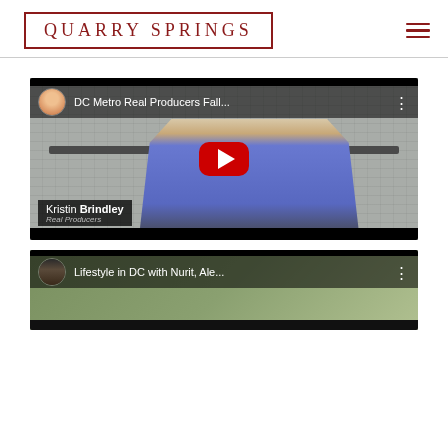QUARRY SPRINGS
[Figure (screenshot): YouTube video thumbnail for 'DC Metro Real Producers Fall...' featuring Kristin Brindley with a red play button overlay. Woman in blue top in front of stone fireplace background.]
[Figure (screenshot): YouTube video thumbnail for 'Lifestyle in DC with Nurit, Ale...' showing partial view of a video with channel avatar of a dark-haired woman.]